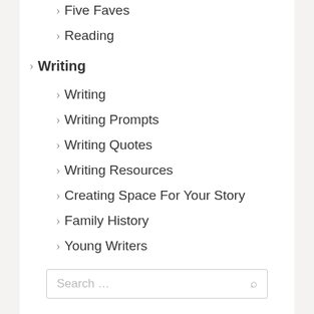Five Faves
Reading
Writing
Writing
Writing Prompts
Writing Quotes
Writing Resources
Creating Space For Your Story
Family History
Young Writers